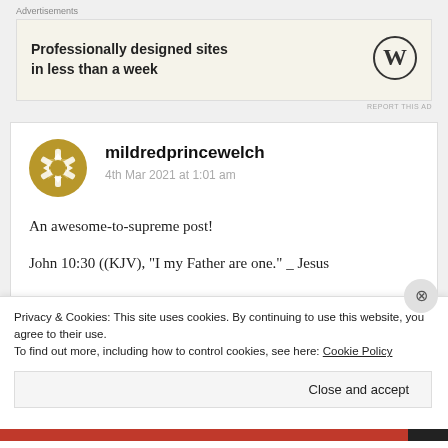Advertisements
[Figure (other): WordPress advertisement banner: 'Professionally designed sites in less than a week' with WordPress logo]
mildredprincewelch
4th Mar 2021 at 1:01 am
An awesome-to-supreme post!
John 10:30 ((KJV), “I my Father are one.” _ Jesus
Privacy & Cookies: This site uses cookies. By continuing to use this website, you agree to their use.
To find out more, including how to control cookies, see here: Cookie Policy
Close and accept